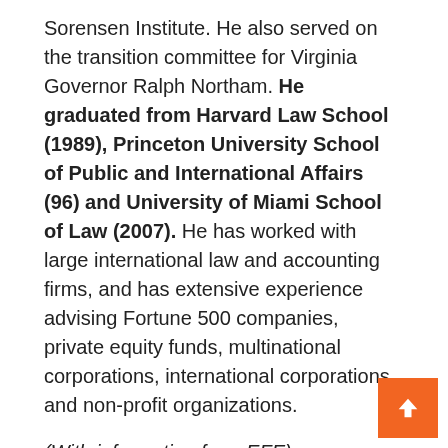Sorensen Institute. He also served on the transition committee for Virginia Governor Ralph Northam. He graduated from Harvard Law School (1989), Princeton University School of Public and International Affairs (96) and University of Miami School of Law (2007). He has worked with large international law and accounting firms, and has extensive experience advising Fortune 500 companies, private equity funds, multinational corporations, international corporations, and non-profit organizations.
(With information from EFE)
Read on:
Nominated former Venezuelan Congressman Biden as his delegate to the Islamic Development Bank...